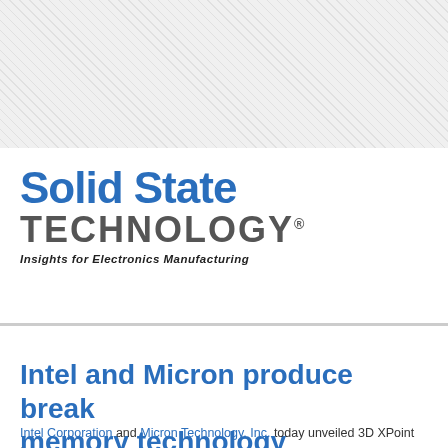[Figure (logo): Hatched diagonal pattern background at top of page]
Solid State TECHNOLOGY® — Insights for Electronics Manufacturing
Intel and Micron produce breakthrough memory technology
Intel Corporation and Micron Technology, Inc. today unveiled 3D XPoint te